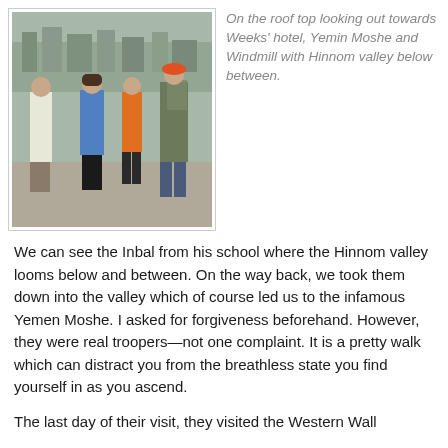[Figure (photo): Group of people standing on a rooftop or elevated area, with trees and buildings in the background. One man in white shirt holds papers, a woman in blue jacket is in the middle, a woman in orange shirt, and a man with a backpack and orange cap on the right.]
On the roof top looking out towards Weeks' hotel, Yemin Moshe and Windmill with Hinnom valley below between.
We can see the Inbal from his school where the Hinnom valley looms below and between. On the way back, we took them down into the valley which of course led us to the infamous Yemen Moshe. I asked for forgiveness beforehand. However, they were real troopers—not one complaint. It is a pretty walk which can distract you from the breathless state you find yourself in as you ascend.
The last day of their visit, they visited the Western Wall together as children and the Archaeological...